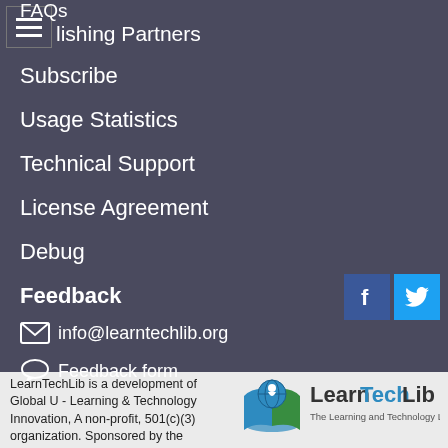FAQs
Publishing Partners
Subscribe
Usage Statistics
Technical Support
License Agreement
Debug
Feedback
info@learntechlib.org
Feedback form
About
Privacy
Terms & Conditions
Accessibility
[Figure (logo): LearnTechLib - The Learning and Technology Library logo with book/globe icon]
LearnTechLib is a development of Global U - Learning & Technology Innovation, A non-profit, 501(c)(3) organization. Sponsored by the Association for the